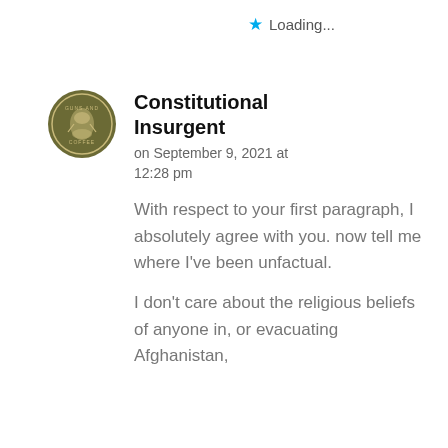Loading...
Constitutional Insurgent
on September 9, 2021 at 12:28 pm
With respect to your first paragraph, I absolutely agree with you. now tell me where I've been unfactual.
I don't care about the religious beliefs of anyone in, or evacuating Afghanistan,